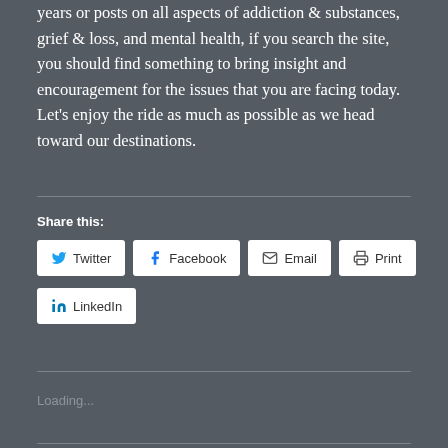years or posts on all aspects of addiction & substances, grief & loss, and mental health, if you search the site, you should find something to bring insight and encouragement for the issues that you are facing today. Let's enjoy the ride as much as possible as we head toward our destinations.
Share this:
[Figure (other): Social share buttons: Twitter, Facebook, Email, Print, LinkedIn]
Loading...